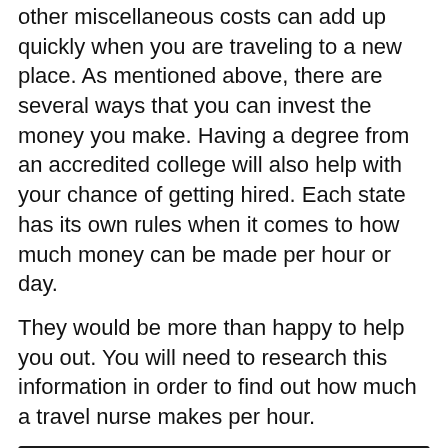other miscellaneous costs can add up quickly when you are traveling to a new place. As mentioned above, there are several ways that you can invest the money you make. Having a degree from an accredited college will also help with your chance of getting hired. Each state has its own rules when it comes to how much money can be made per hour or day.
They would be more than happy to help you out. You will need to research this information in order to find out how much a travel nurse makes per hour.
[Figure (screenshot): YouTube video thumbnail for 'Best shoes for nurses: Hoka vs. Cr...' showing a blonde woman with mouth open, pink/brick background, yellow text 'HOE' and 'VIEW' on left, blue 'HOK' text on right.]